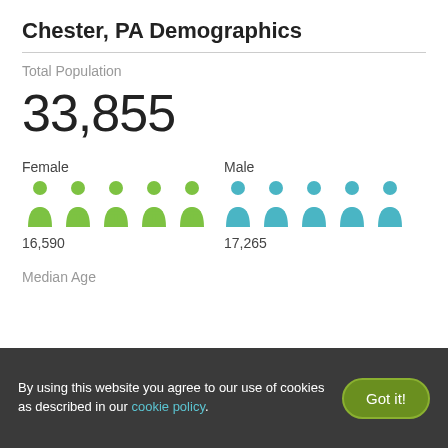Chester, PA Demographics
Total Population
33,855
[Figure (infographic): Gender split infographic showing 5 green female icons and 5 blue male icons. Female: 16,590. Male: 17,265.]
Median Age
By using this website you agree to our use of cookies as described in our cookie policy.